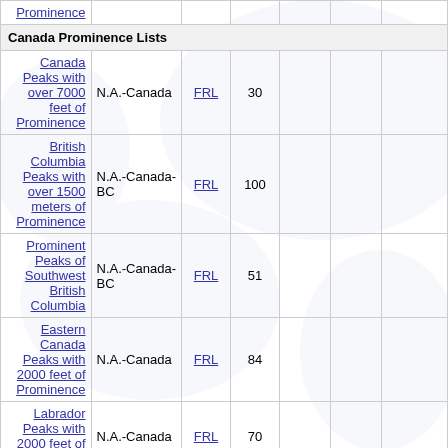| Name | Region | Type | Peaks | Done | Pct | Last |
| --- | --- | --- | --- | --- | --- | --- |
| Prominence |  |  |  |  |  |  |
| Canada Prominence Lists |  |  |  |  |  |  |
| Canada Peaks with over 7000 feet of Prominence | N.A.-Canada | FRL | 30 |  |  |  |
| British Columbia Peaks with over 1500 meters of Prominence | N.A.-Canada-BC | FRL | 100 |  |  |  |
| Prominent Peaks of Southwest British Columbia | N.A.-Canada-BC | FRL | 51 |  |  |  |
| Eastern Canada Peaks with 2000 feet of Prominence | N.A.-Canada | FRL | 84 |  |  |  |
| Labrador Peaks with 2000 feet of Prominence | N.A.-Canada | FRL | 70 |  |  |  |
| Most Prominent Peaks of Canadian Provinces | N.A.-Canada | FRL | 13 |  |  |  |
| Canada Second Lap List | N.A.-Canada | FRL | 13 |  |  |  |
| United States Prominence Lists |  |  |  |  |  |  |
| USA Peaks with 6000 feet of Prominence | N.A.-USA | FRL | 64 | 13 | 20.31 | Mauna K |
| USA Lower 48 |  |  |  |  |  | Mount |